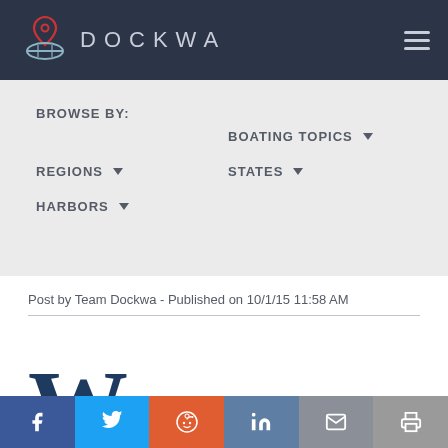DOCKWA
BROWSE BY: BOATING TOPICS ▾ REGIONS ▾ STATES ▾ HARBORS ▾
Post by Team Dockwa - Published on 10/1/15 11:58 AM
W ith the rain and snow...
Social share bar: Facebook, Twitter, Reddit, LinkedIn, Email, Print